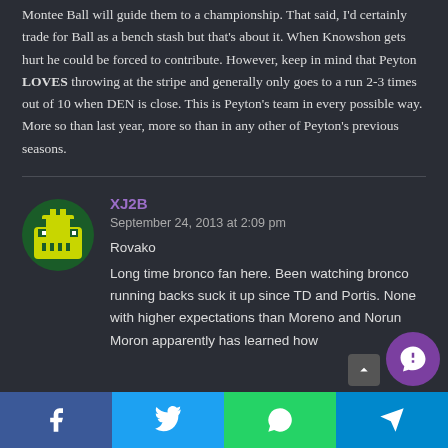Montee Ball will guide them to a championship. That said, I'd certainly trade for Ball as a bench stash but that's about it. When Knowshon gets hurt he could be forced to contribute. However, keep in mind that Peyton LOVES throwing at the stripe and generally only goes to a run 2-3 times out of 10 when DEN is close. This is Peyton's team in every possible way. More so than last year, more so than in any other of Peyton's previous seasons.
XJ2B
September 24, 2013 at 2:09 pm
Rovako
Long time bronco fan here. Been watching bronco running backs suck it up since TD and Portis. None with higher expectations than Moreno and Norun Moron apparently has learned how